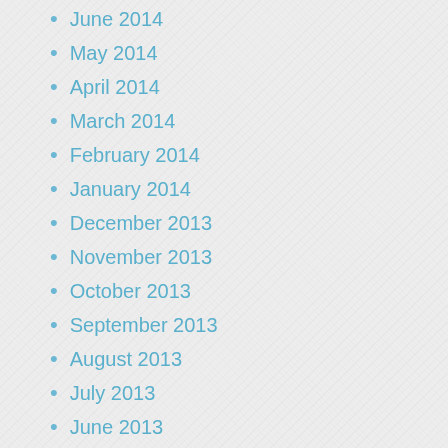June 2014
May 2014
April 2014
March 2014
February 2014
January 2014
December 2013
November 2013
October 2013
September 2013
August 2013
July 2013
June 2013
May 2013
April 2013
January 2013
December 2012
November 2012
October 2012